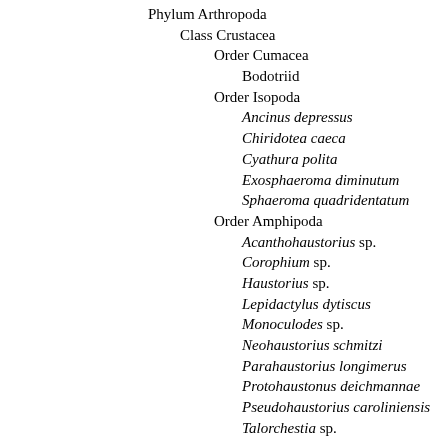Phylum Arthropoda
Class Crustacea
Order Cumacea
Bodotriid
Order Isopoda
Ancinus depressus
Chiridotea caeca
Cyathura polita
Exosphaeroma diminutum
Sphaeroma quadridentatum
Order Amphipoda
Acanthohaustorius sp.
Corophium sp.
Haustorius sp.
Lepidactylus dytiscus
Monoculodes sp.
Neohaustorius schmitzi
Parahaustorius longimerus
Protohaustonus deichmannae
Pseudohaustorius caroliniensis
Talorchestia sp.